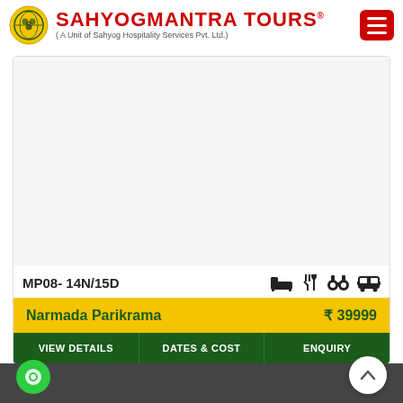SAHYOGMANTRA TOURS ( A Unit of Sahyog Hospitality Services Pvt. Ltd.)
[Figure (photo): Tour package image placeholder (white/light gray area)]
MP08- 14N/15D
Narmada Parikrama ₹ 39999
VIEW DETAILS | DATES & COST | ENQUIRY